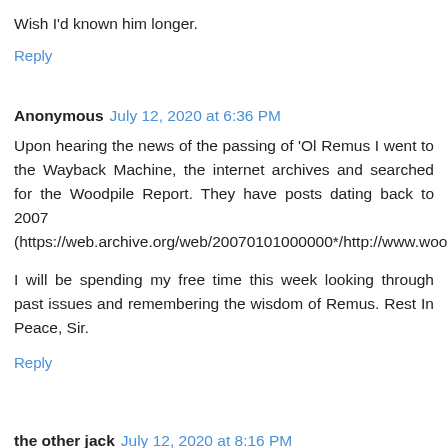Wish I'd known him longer.
Reply
Anonymous  July 12, 2020 at 6:36 PM
Upon hearing the news of the passing of 'Ol Remus I went to the Wayback Machine, the internet archives and searched for the Woodpile Report. They have posts dating back to 2007 (https://web.archive.org/web/20070101000000*/http://www.woodpilereport.com).
I will be spending my free time this week looking through past issues and remembering the wisdom of Remus. Rest In Peace, Sir.
Reply
the other jack  July 12, 2020 at 8:16 PM
this is really tough to learn. but thank you for letting us know.